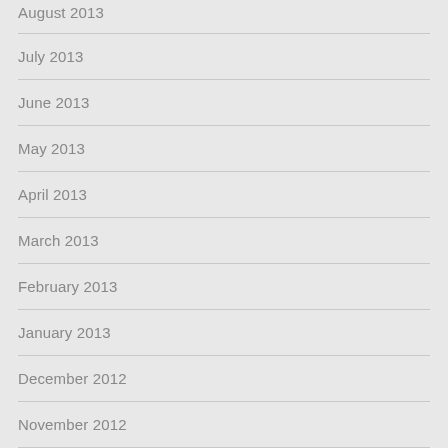August 2013
July 2013
June 2013
May 2013
April 2013
March 2013
February 2013
January 2013
December 2012
November 2012
October 2012
September 2012